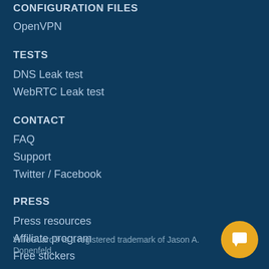CONFIGURATION FILES
OpenVPN
TESTS
DNS Leak test
WebRTC Leak test
CONTACT
FAQ
Support
Twitter / Facebook
PRESS
Press resources
Affiliate program
Free stickers
WireGuard® is a registered trademark of Jason A. Donenfeld.